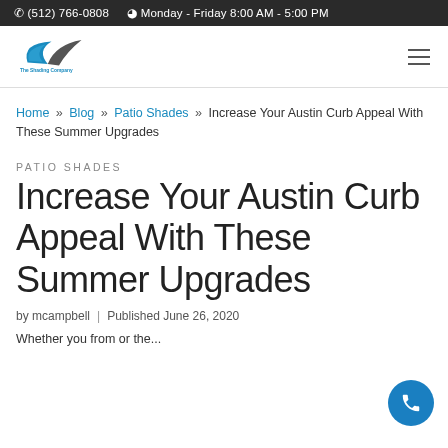✆ (512) 766-0808   🕐 Monday - Friday 8:00 AM - 5:00 PM
[Figure (logo): The Shading Company logo with blue and grey swoosh graphic and company name]
Home » Blog » Patio Shades » Increase Your Austin Curb Appeal With These Summer Upgrades
PATIO SHADES
Increase Your Austin Curb Appeal With These Summer Upgrades
by mcampbell | Published June 26, 2020
Whether you from or the...